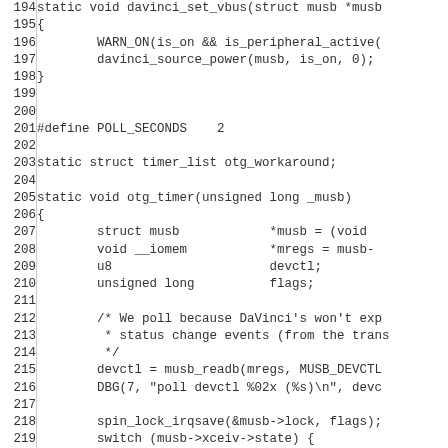[Figure (screenshot): Source code listing in C showing lines 194-223 of a Linux kernel driver file. Code includes a davinci_set_vbus function, a POLL_SECONDS define, otg_workaround timer_list declaration, and the beginning of an otg_timer function with struct declarations and a switch statement on musb->xceiv->state.]